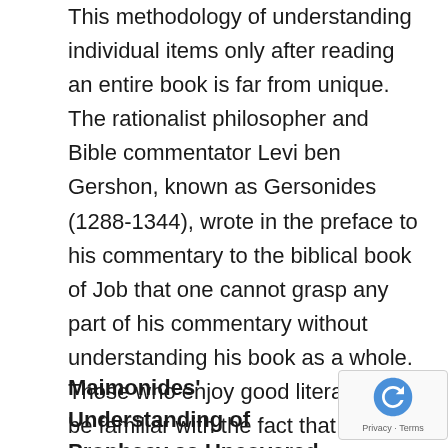This methodology of understanding individual items only after reading an entire book is far from unique. The rationalist philosopher and Bible commentator Levi ben Gershon, known as Gersonides (1288-1344), wrote in the preface to his commentary to the biblical book of Job that one cannot grasp any part of his commentary without understanding his book as a whole. Those who enjoy good literature will be familiar with the fact that many excellently written volumes cannot be fully understood until the reader finishes reading the book in its entirety.
Maimonides' Understanding of Prophecy as Uncovered Using this Method